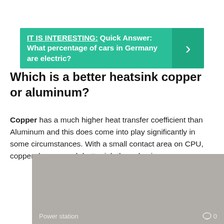IT IS INTERESTING: Quick Answer: What percentage of cars in Germany are electric?
Which is a better heatsink copper or aluminum?
Copper has a much higher heat transfer coefficient than Aluminum and this does come into play significantly in some circumstances. With a small contact area on CPU, copper does a much better job than aluminum.
[Figure (photo): Gray placeholder image of a power station]
Power station  0